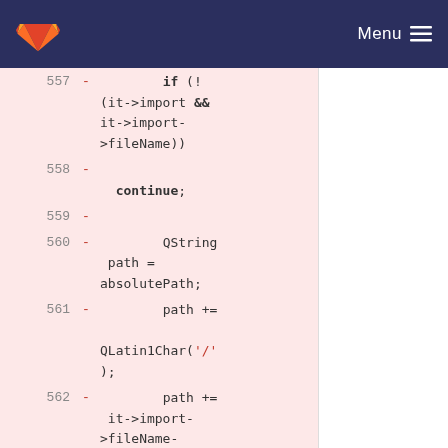GitLab — Menu
[Figure (screenshot): Code diff view showing lines 557-563 with removed lines (red background). Line 557: if (!(it->import && it->import->fileName)). Line 558: continue;. Line 559: (empty). Line 560: QString path = absolutePath;. Line 561: path += QLatin1Char('/');. Line 562: path += it->import->fileName->asString();. Line 563: path = QDir::cleanPath]